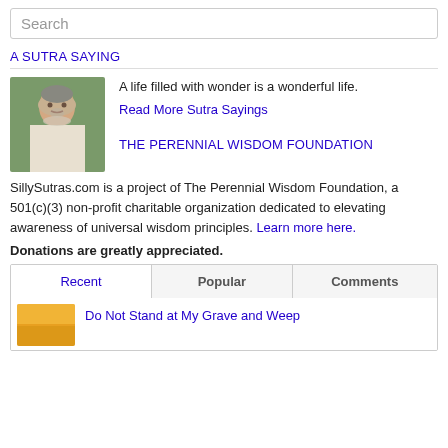Search
A SUTRA SAYING
[Figure (photo): Elderly man with white beard wearing a cap, smiling, outdoors with green foliage background]
A life filled with wonder is a wonderful life.
Read More Sutra Sayings
THE PERENNIAL WISDOM FOUNDATION
SillySutras.com is a project of The Perennial Wisdom Foundation, a 501(c)(3) non-profit charitable organization dedicated to elevating awareness of universal wisdom principles. Learn more here.
Donations are greatly appreciated.
Recent | Popular | Comments
Do Not Stand at My Grave and Weep